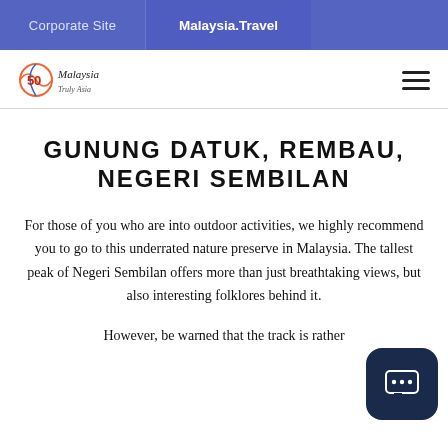Corporate Site   Malaysia.Travel
[Figure (logo): Malaysia Tourism 50th anniversary logo with script Malaysia text]
GUNUNG DATUK, REMBAU, NEGERI SEMBILAN
For those of you who are into outdoor activities, we highly recommend you to go to this underrated nature preserve in Malaysia. The tallest peak of Negeri Sembilan offers more than just breathtaking views, but also interesting folklores behind it.
However, be warned that the track is rather